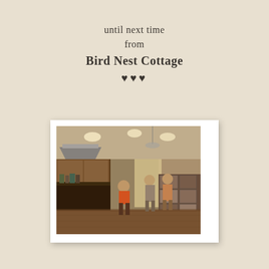until next time
from
Bird Nest Cottage
♥♥♥
[Figure (photo): Interior of a home with people gathered, showing a kitchen area on the left with dark cabinets and a range hood, and people including a child in an orange shirt standing in the room. Items and boxes are stacked on the right side. Warm lighting from recessed ceiling lights.]